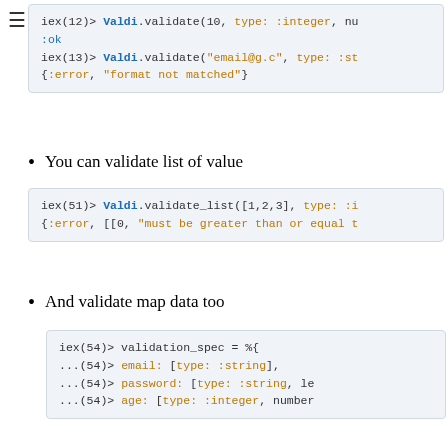[Figure (screenshot): Code block showing iex(12)> Valdi.validate(10, type: :integer, nu... :ok and iex(13)> Valdi.validate("email@g.c", type: :st {:error, "format not matched"}]
You can validate list of value
[Figure (screenshot): Code block showing iex(51)> Valdi.validate_list([1,2,3], type: :i {:error, [[0, "must be greater than or equal t]
And validate map data too
[Figure (screenshot): Code block showing iex(54)> validation_spec = %{ ...(54)> email: [type: :string], ...(54)> password: [type: :string, le ...(54)> age: [type: :integer, number]